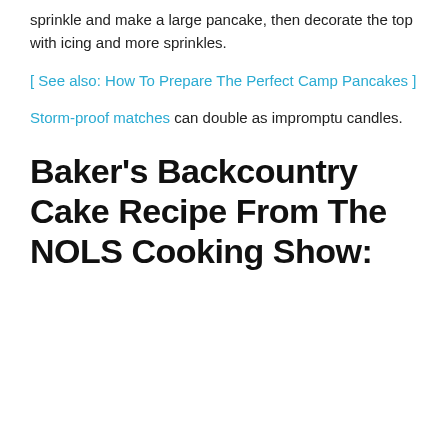sprinkle and make a large pancake, then decorate the top with icing and more sprinkles.
[ See also: How To Prepare The Perfect Camp Pancakes ]
Storm-proof matches can double as impromptu candles.
Baker's Backcountry Cake Recipe From The NOLS Cooking Show: